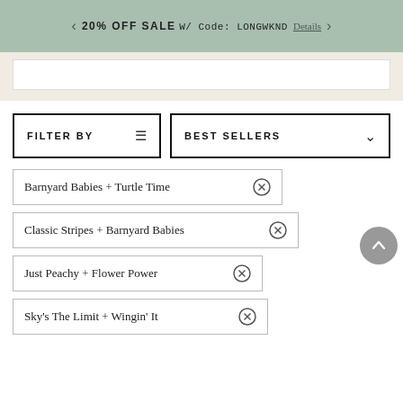20% OFF SALE w/ Code: LONGWKND  Details
FILTER BY  |  BEST SELLERS
Barnyard Babies + Turtle Time ×
Classic Stripes + Barnyard Babies ×
Just Peachy + Flower Power ×
Sky's The Limit + Wingin' It ×